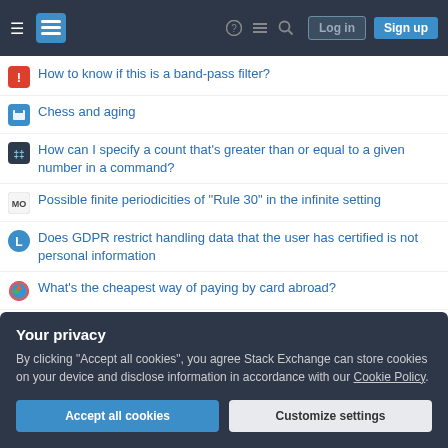Stack Exchange navigation header with Log in and Sign up buttons
How to know if this is a band-pass filter?
Chess and aging
How can I specify a count that's greater than or equal to a given number in a command?
Possible finite periodicities of "Rule 30" in the infinite setting
Does GDPR restrict handling data that the user has certified is not personal information
What's the cheapest way of paying by card abroad?
K&R Exercise 3-3. Expands shorthand notations (e.g., a-z to abc..xyz, 0-9 to 012..789)
Are there rules about "off the record" in journalism?
Your privacy
By clicking "Accept all cookies", you agree Stack Exchange can store cookies on your device and disclose information in accordance with our Cookie Policy.